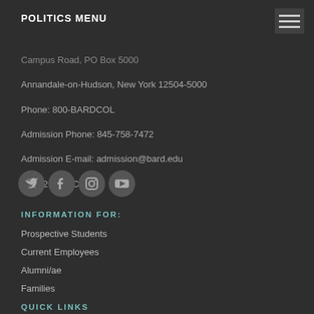POLITICS MENU
Campus Road, PO Box 5000
Annandale-on-Hudson, New York 12504-5000
Phone: 800-BARDCOL
Admission Phone: 845-758-7472
Admission E-mail: admission@bard.edu
©2022 Bard College
[Figure (illustration): Four social media icons: Twitter, Facebook, Instagram, YouTube]
INFORMATION FOR:
Prospective Students
Current Employees
Alumni/ae
Families
QUICK LINKS
Employment